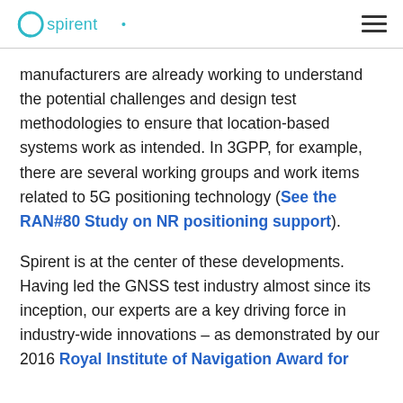Spirent [logo] [hamburger menu]
manufacturers are already working to understand the potential challenges and design test methodologies to ensure that location-based systems work as intended. In 3GPP, for example, there are several working groups and work items related to 5G positioning technology (See the RAN#80 Study on NR positioning support).
Spirent is at the center of these developments. Having led the GNSS test industry almost since its inception, our experts are a key driving force in industry-wide innovations – as demonstrated by our 2016 Royal Institute of Navigation Award for